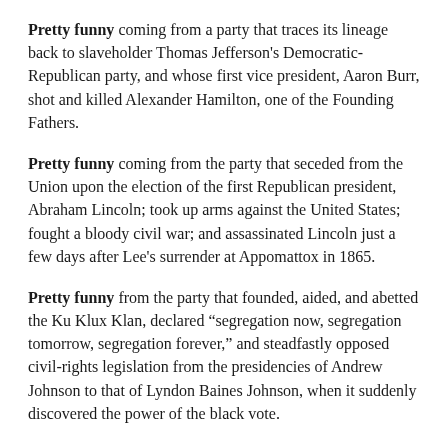Pretty funny coming from a party that traces its lineage back to slaveholder Thomas Jefferson's Democratic-Republican party, and whose first vice president, Aaron Burr, shot and killed Alexander Hamilton, one of the Founding Fathers.
Pretty funny coming from the party that seceded from the Union upon the election of the first Republican president, Abraham Lincoln; took up arms against the United States; fought a bloody civil war; and assassinated Lincoln just a few days after Lee's surrender at Appomattox in 1865.
Pretty funny from the party that founded, aided, and abetted the Ku Klux Klan, declared “segregation now, segregation tomorrow, segregation forever,” and steadfastly opposed civil-rights legislation from the presidencies of Andrew Johnson to that of Lyndon Baines Johnson, when it suddenly discovered the power of the black vote.
Pretty funny coming from the party that honored its first official